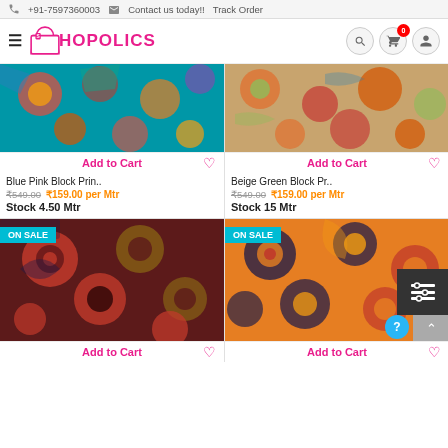+91-7597360003   Contact us today!!   Track Order
[Figure (logo): Shopolics logo with shopping bag icon]
[Figure (photo): Blue Pink Block Print fabric product image]
Add to Cart
Blue Pink Block Prin..
₹549.00  ₹159.00 per Mtr
Stock 4.50 Mtr
[Figure (photo): Beige Green Block Print fabric product image]
Add to Cart
Beige Green Block Pr..
₹549.00  ₹159.00 per Mtr
Stock 15 Mtr
[Figure (photo): Dark red block print fabric on sale]
[Figure (photo): Orange red block print fabric on sale with settings overlay]